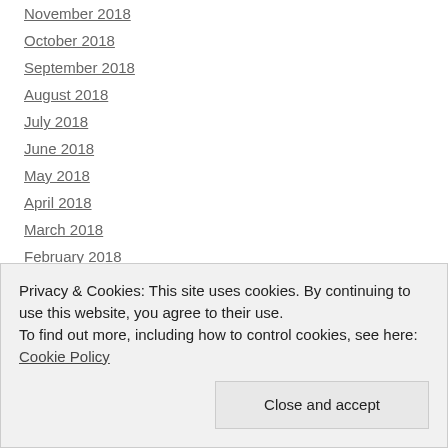November 2018
October 2018
September 2018
August 2018
July 2018
June 2018
May 2018
April 2018
March 2018
February 2018
January 2018
December 2017
November 2017
Privacy & Cookies: This site uses cookies. By continuing to use this website, you agree to their use.
To find out more, including how to control cookies, see here: Cookie Policy